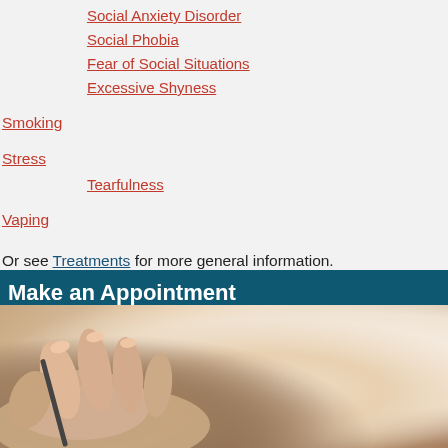Social Anxiety Disorder
Social Phobia
Fear of Social Situations
Excessive Shyness
Smoking
Stress
Tearfulness
Vaping
Or see Treatments for more general information.
Make an Appointment
[Figure (photo): Close-up photo of a hand holding a pen, writing or signing, with a blurred background]